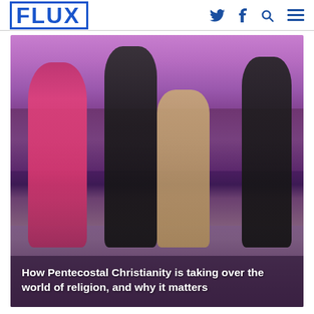FLUX
[Figure (photo): Four women standing on a stage holding hands, in a purple-lit venue. The leftmost woman wears a bright pink suit. The second woman wears a dark dress with a striped waistband and holds a microphone. The third woman wears a khaki/tan outfit. The rightmost woman wears a dark short dress and holds papers. A banner with circular logos is visible in the background.]
How Pentecostal Christianity is taking over the world of religion, and why it matters